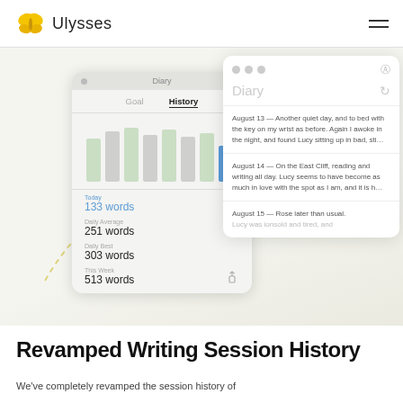Ulysses
[Figure (screenshot): Screenshot of Ulysses app showing two UI panels: a 'Diary' stats/history card on the left with a bar chart and word counts (Today: 133 words, Daily Average: 251 words, Daily Best: 303 words, This Week: 513 words), and a Diary document list panel on the right showing diary entries for August 13, 14, and 15]
Revamped Writing Session History
We've completely revamped the session history of